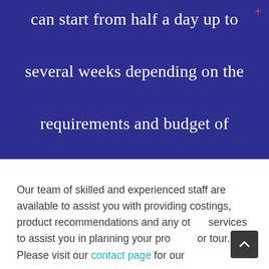can start from half a day up to several weeks depending on the requirements and budget of each client.
Our team of skilled and experienced staff are available to assist you with providing costings, product recommendations and any other services to assist you in planning your program or tour. Please visit our contact page for our